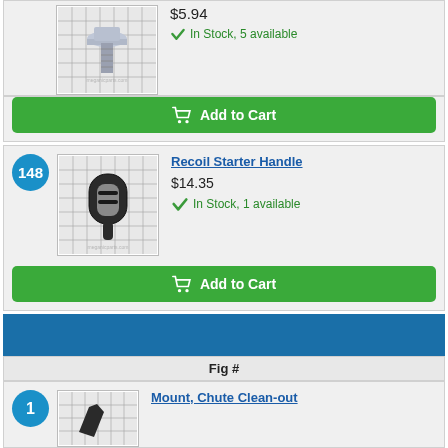[Figure (photo): Bolt screw hardware part on grid background]
$5.94
In Stock, 5 available
Add to Cart
148
[Figure (photo): Recoil starter handle part on grid background]
Recoil Starter Handle
$14.35
In Stock, 1 available
Add to Cart
Fig #
1
Mount, Chute Clean-out